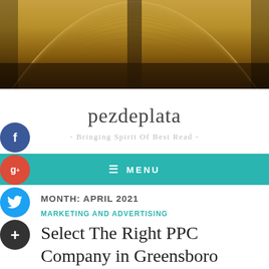[Figure (photo): Close-up photo of an open book showing pages fanned out, warm golden/brown tones]
pezdeplata
- Bringing Spirit Of Best Read -
≡ MENU
MONTH: APRIL 2021
MARKETING AND ADVERTISING
Select The Right PPC Company in Greensboro
April 30, 2021   Brianna Cuper